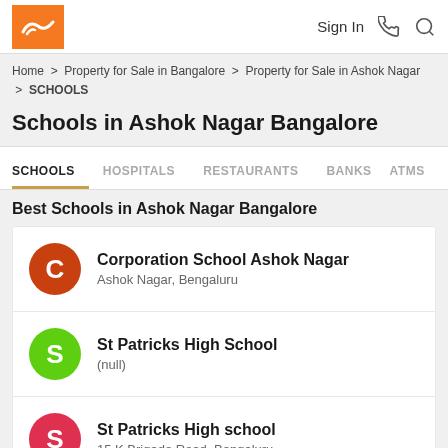Sign In
Home > Property for Sale in Bangalore > Property for Sale in Ashok Nagar > SCHOOLS
Schools in Ashok Nagar Bangalore
SCHOOLS  HOSPITALS  RESTAURANTS  BANKS  ATMS
Best Schools in Ashok Nagar Bangalore
Corporation School Ashok Nagar — Ashok Nagar, Bengaluru
St Patricks High School — (null)
St Patricks High school — 15 K Brigade Road, Bengaluru